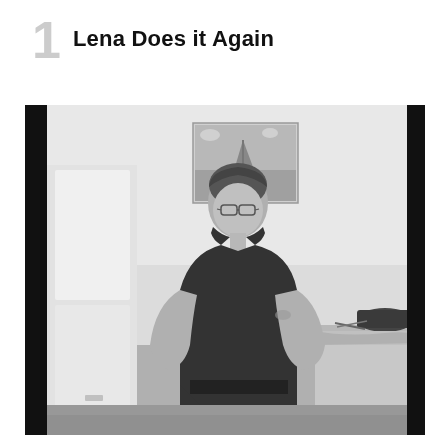1  Lena Does it Again
[Figure (photo): Black and white photograph of a person wearing glasses and a black sleeveless tank top, standing in what appears to be a kitchen or laundry room. There is a painting of a sailboat on the wall behind them. Appliances and items on a counter are visible on the right side. The photo has dark border strips on the left and right edges.]